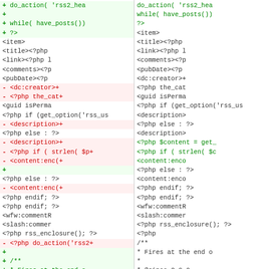[Figure (screenshot): Side-by-side diff view of a PHP/XML RSS feed template file, showing removed lines (red, left side) and added lines (green, right side) in a code comparison layout with two columns.]